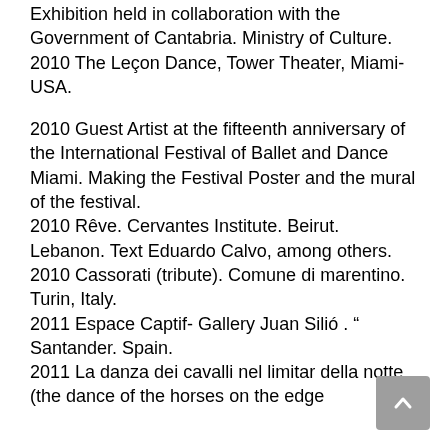Exhibition held in collaboration with the Government of Cantabria. Ministry of Culture.
2010 The Leçon Dance, Tower Theater, Miami-USA.

2010 Guest Artist at the fifteenth anniversary of the International Festival of Ballet and Dance Miami. Making the Festival Poster and the mural of the festival.
2010 Rêve. Cervantes Institute. Beirut. Lebanon. Text Eduardo Calvo, among others.
2010 Cassorati (tribute). Comune di marentino. Turin, Italy.
2011 Espace Captif- Gallery Juan Silió . " Santander. Spain.
2011 La danza dei cavalli nel limitar della notte (the dance of the horses on the edge